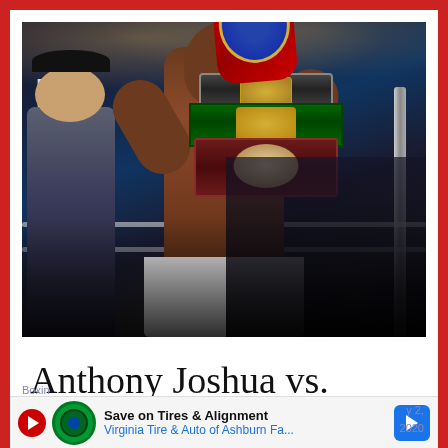[Figure (photo): Anthony Joshua holding multiple championship boxing belts, arms raised in victory, with a crowd and boxing ring in the background]
Anthony Joshua vs. Kubrat Pulev Official For June 20 In London
Boxin... January 2, 2020
[Figure (infographic): Advertisement banner: Save on Tires & Alignment - Virginia Tire & Auto of Ashburn Fa...]